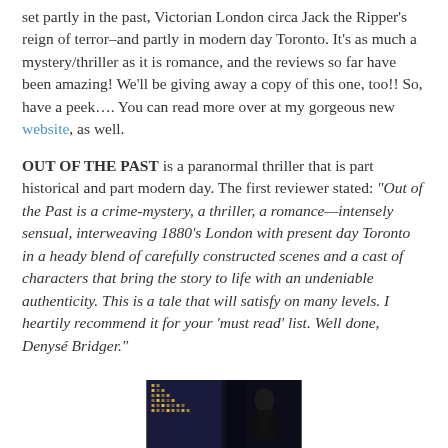set partly in the past, Victorian London circa Jack the Ripper's reign of terror–and partly in modern day Toronto. It's as much a mystery/thriller as it is romance, and the reviews so far have been amazing! We'll be giving away a copy of this one, too!! So, have a peek…. You can read more over at my gorgeous new website, as well.
OUT OF THE PAST is a paranormal thriller that is part historical and part modern day. The first reviewer stated: "Out of the Past is a crime-mystery, a thriller, a romance—intensely sensual, interweaving 1880's London with present day Toronto in a heady blend of carefully constructed scenes and a cast of characters that bring the story to life with an undeniable authenticity. This is a tale that will satisfy on many levels. I heartily recommend it for your 'must read' list. Well done, Denysé Bridger."
[Figure (photo): Dark nighttime cityscape photo showing illuminated building windows and a shadowy figure, positioned at the bottom center of the page]